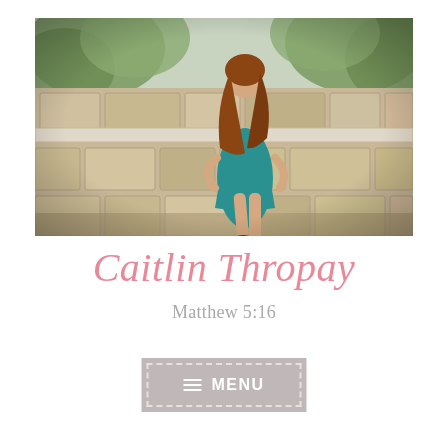[Figure (photo): Young woman with long auburn hair wearing a teal dress, sitting on a stone ledge wall outdoors with trees in the background]
Caitlin Thropay
Matthew 5:16
≡ MENU